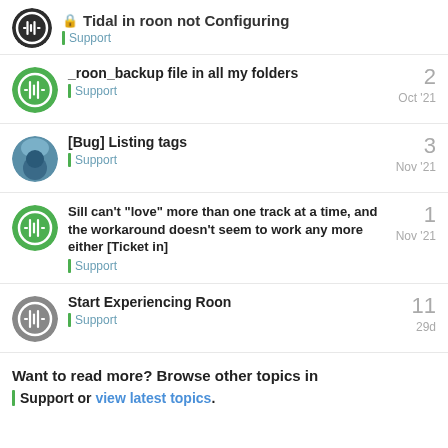Tidal in roon not Configuring | Support
_roon_backup file in all my folders | Support | 2 replies | Oct '21
[Bug] Listing tags | Support | 3 replies | Nov '21
Sill can't "love" more than one track at a time, and the workaround doesn't seem to work any more either [Ticket in] | Support | 1 reply | Nov '21
Start Experiencing Roon | Support | 11 replies | 29d
Want to read more? Browse other topics in Support or view latest topics.